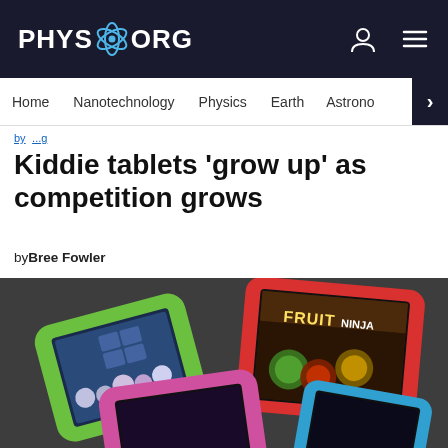PHYS.ORG
Home | Nanotechnology | Physics | Earth | Astronomy >
by Bree Fowler (breadcrumb/nav area)
Kiddie tablets 'grow up' as competition grows
byBree Fowler
[Figure (photo): Multiple kids tablets with colorful bumper cases (green, red, pink, blue) arranged on dark fabric background. Screens show games including Fruit Ninja and animated characters.]